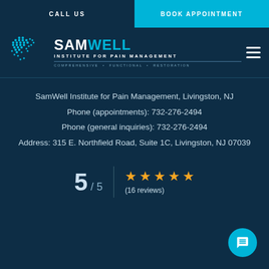CALL US | BOOK APPOINTMENT
[Figure (logo): SamWell Institute for Pain Management logo with dot-pattern heart/hand icon. Text reads SAMWELL INSTITUTE FOR PAIN MANAGEMENT COMPREHENSIVE • FUNCTIONAL • RESTORATION]
SamWell Institute for Pain Management, Livingston, NJ
Phone (appointments): 732-276-2494
Phone (general inquiries): 732-276-2494
Address: 315 E. Northfield Road, Suite 1C, Livingston, NJ 07039
5 / 5 ★★★★★ (16 reviews)